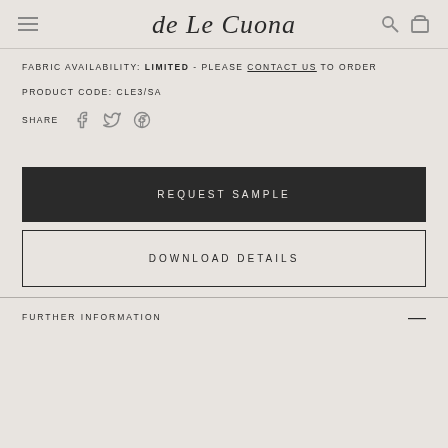de Le Cuona
FABRIC AVAILABILITY: LIMITED - PLEASE CONTACT US TO ORDER
PRODUCT CODE: CLE3/SA
SHARE
REQUEST SAMPLE
DOWNLOAD DETAILS
FURTHER INFORMATION